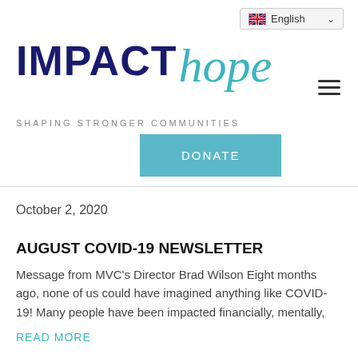[Figure (logo): Impact hope logo with tagline 'SHAPING STRONGER COMMUNITIES' and a language selector (English with UK flag) and hamburger menu icon, plus a DONATE button]
October 2, 2020
AUGUST COVID-19 NEWSLETTER
Message from MVC's Director Brad Wilson  Eight months ago, none of us could have imagined anything like COVID-19! Many people have been impacted financially, mentally,
READ MORE